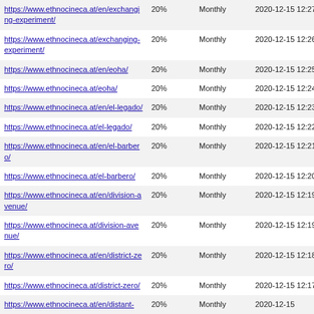| https://www.ethnocineca.at/en/exchanging-experiment/ | 20% | Monthly | 2020-12-15 12:27 |
| https://www.ethnocineca.at/exchanging-experiment/ | 20% | Monthly | 2020-12-15 12:26 |
| https://www.ethnocineca.at/en/eoha/ | 20% | Monthly | 2020-12-15 12:25 |
| https://www.ethnocineca.at/eoha/ | 20% | Monthly | 2020-12-15 12:24 |
| https://www.ethnocineca.at/en/el-legado/ | 20% | Monthly | 2020-12-15 12:23 |
| https://www.ethnocineca.at/el-legado/ | 20% | Monthly | 2020-12-15 12:22 |
| https://www.ethnocineca.at/en/el-barbero/ | 20% | Monthly | 2020-12-15 12:21 |
| https://www.ethnocineca.at/el-barbero/ | 20% | Monthly | 2020-12-15 12:20 |
| https://www.ethnocineca.at/en/division-avenue/ | 20% | Monthly | 2020-12-15 12:19 |
| https://www.ethnocineca.at/division-avenue/ | 20% | Monthly | 2020-12-15 12:19 |
| https://www.ethnocineca.at/en/district-zero/ | 20% | Monthly | 2020-12-15 12:18 |
| https://www.ethnocineca.at/district-zero/ | 20% | Monthly | 2020-12-15 12:17 |
| https://www.ethnocineca.at/en/distant- | 20% | Monthly | 2020-12-15 |